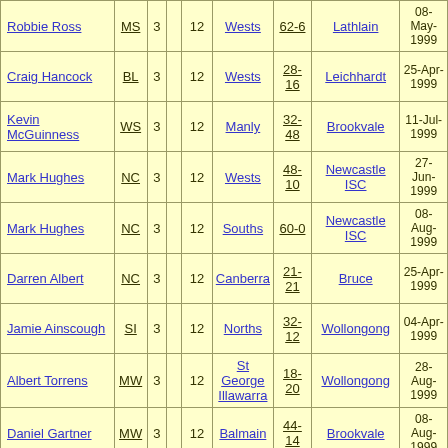| Robbie Ross | MS | 3 |  | 12 | Wests | 62-6 | Lathlain | 08-May-1999 |
| Craig Hancock | BL | 3 |  | 12 | Wests | 28-16 | Leichhardt | 25-Apr-1999 |
| Kevin McGuinness | WS | 3 |  | 12 | Manly | 32-48 | Brookvale | 11-Jul-1999 |
| Mark Hughes | NC | 3 |  | 12 | Wests | 48-10 | Newcastle ISC | 27-Jun-1999 |
| Mark Hughes | NC | 3 |  | 12 | Souths | 60-0 | Newcastle ISC | 08-Aug-1999 |
| Darren Albert | NC | 3 |  | 12 | Canberra | 21-21 | Bruce | 25-Apr-1999 |
| Jamie Ainscough | SI | 3 |  | 12 | Norths | 32-12 | Wollongong | 04-Apr-1999 |
| Albert Torrens | MW | 3 |  | 12 | St George Illawarra | 18-20 | Wollongong | 28-Aug-1999 |
| Daniel Gartner | MW | 3 |  | 12 | Balmain | 44-14 | Brookvale | 08-Aug-1999 |